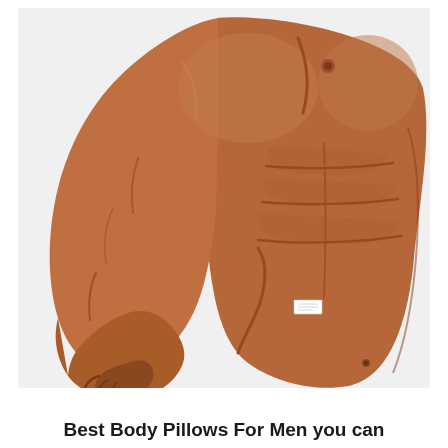[Figure (photo): A novelty body pillow shaped like a muscular male torso with one arm extended. The pillow is brown/tan colored and shows defined chest muscles, six-pack abs, and a bent arm with a hand. A small white product tag is visible near the waist.]
Best Body Pillows For Men you can